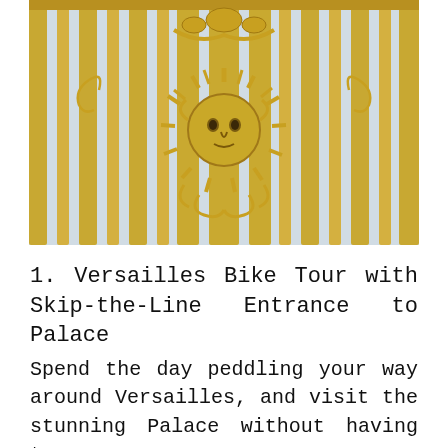[Figure (photo): Close-up photograph of ornate golden ironwork gates of the Palace of Versailles, featuring a gilded sun face (Sol Invictus / Sun King emblem) with radiating rays at the center, surrounded by elaborate gold decorative metalwork including scrolls, festoons, and vertical golden bars against a pale blue-grey sky background.]
1. Versailles Bike Tour with Skip-the-Line Entrance to Palace
Spend the day peddling your way around Versailles, and visit the stunning Palace without having to